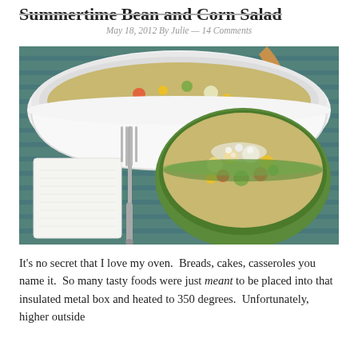Summertime Bean and Corn Salad
May 18, 2012 By Julie — 14 Comments
[Figure (photo): A bean and corn salad served in a small green ramekin bowl and a larger white casserole dish on a blue-green striped placemat, with a white napkin, silver fork, and wooden spoon.]
It's no secret that I love my oven.  Breads, cakes, casseroles you name it.  So many tasty foods were just meant to be placed into that insulated metal box and heated to 350 degrees.  Unfortunately, higher outside